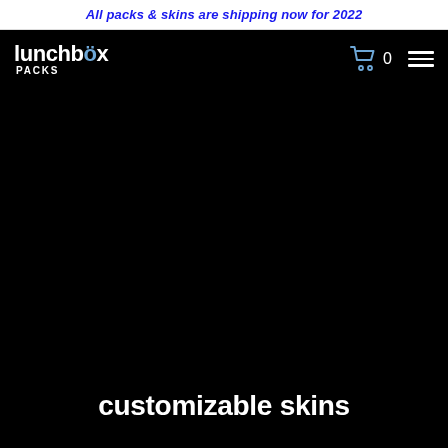All packs & skins are shipping now for 2022
[Figure (logo): Lunchbox Packs logo: white text 'lunchbox' with blue 'o', and 'PACKS' in white below]
[Figure (screenshot): Navigation bar icons: shopping cart with 0 items count, and hamburger menu icon on black background]
[Figure (photo): Large black hero area, product/background image area]
customizable skins